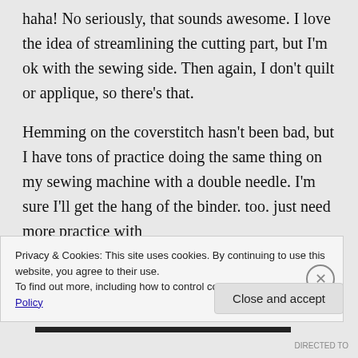haha! No seriously, that sounds awesome. I love the idea of streamlining the cutting part, but I'm ok with the sewing side. Then again, I don't quilt or applique, so there's that.
Hemming on the coverstitch hasn't been bad, but I have tons of practice doing the same thing on my sewing machine with a double needle. I'm sure I'll get the hang of the binder. too. just need more practice with
Privacy & Cookies: This site uses cookies. By continuing to use this website, you agree to their use.
To find out more, including how to control cookies, see here: Cookie Policy
Close and accept